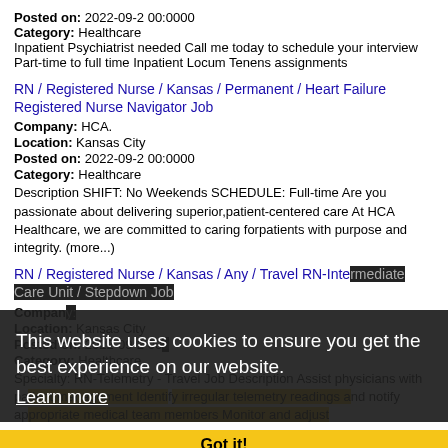Posted on: 2022-09-2 00:0000
Category: Healthcare
Inpatient Psychiatrist needed Call me today to schedule your interview Part-time to full time Inpatient Locum Tenens assignments
RN / Registered Nurse / Kansas / Permanent / Heart Failure Registered Nurse Navigator Job
Company: HCA.
Location: Kansas City
Posted on: 2022-09-2 00:0000
Category: Healthcare
Description SHIFT: No Weekends SCHEDULE: Full-time Are you passionate about delivering superior,patient-centered care At HCA Healthcare, we are committed to caring forpatients with purpose and integrity. (more...)
RN / Registered Nurse / Kansas / Any / Travel RN-Intermediate Care Unit / Stepdown Job
Company:
Location: Kansas City
Posted on: 2022-09-2 00
Category: Healthcare
Specialty: RN-Telemetry - Travel Job Description Assist physicians with patient management Identify irregular telemetry readings and notify appropriate medical team members Monitor and adjust
RN / Manager / Kansas / Permanent / Registered Nurse ICU Job
This website uses cookies to ensure you get the best experience on our website.
Learn more
Got it!